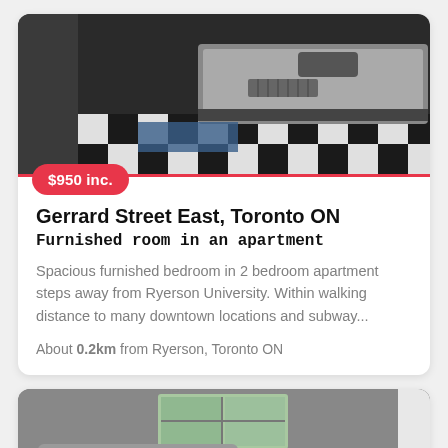[Figure (photo): Interior photo of a bedroom with checkered black and white floor, a bed with grey sheets, and dark furniture]
$950 inc.
Gerrard Street East, Toronto ON
Furnished room in an apartment
Spacious furnished bedroom in 2 bedroom apartment steps away from Ryerson University. Within walking distance to many downtown locations and subway...
About 0.2km from Ryerson, Toronto ON
[Figure (photo): Interior photo of a modern bedroom with grey walls, a bed with dark bedding, and a red suitcase]